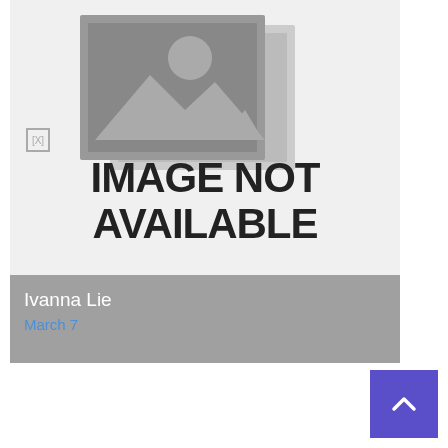[Figure (illustration): Image not available placeholder with stacked photo frames icon and text 'IMAGE NOT AVAILABLE'. A broken image indicator [X] is shown at the left side.]
Ivanna Lie
March 7